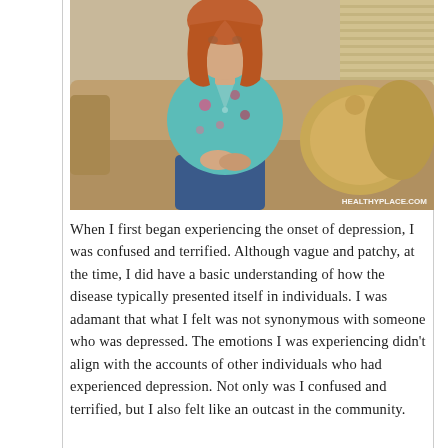[Figure (photo): A woman with red hair wearing a floral top sits on a couch with decorative pillows. Watermark reads HEALTHYPLACE.COM in the bottom-right corner.]
When I first began experiencing the onset of depression, I was confused and terrified. Although vague and patchy, at the time, I did have a basic understanding of how the disease typically presented itself in individuals. I was adamant that what I felt was not synonymous with someone who was depressed. The emotions I was experiencing didn't align with the accounts of other individuals who had experienced depression. Not only was I confused and terrified, but I also felt like an outcast in the community.